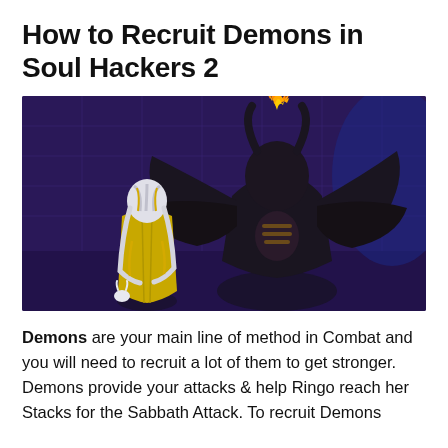How to Recruit Demons in Soul Hackers 2
[Figure (screenshot): Game screenshot from Soul Hackers 2 showing a character with white and yellow hair facing a large dark winged demon figure with flame on its head, against a purple background]
Demons are your main line of method in Combat and you will need to recruit a lot of them to get stronger. Demons provide your attacks & help Ringo reach her Stacks for the Sabbath Attack. To recruit Demons